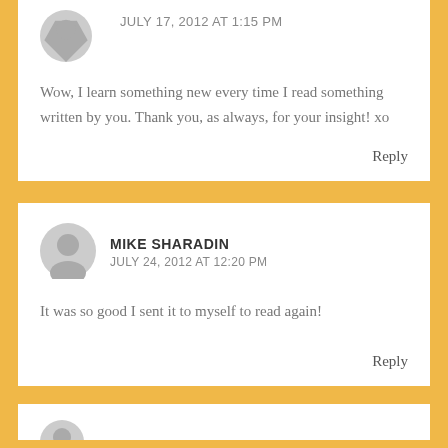JULY 17, 2012 AT 1:15 PM
Wow, I learn something new every time I read something written by you. Thank you, as always, for your insight! xo
Reply
MIKE SHARADIN
JULY 24, 2012 AT 12:20 PM
It was so good I sent it to myself to read again!
Reply